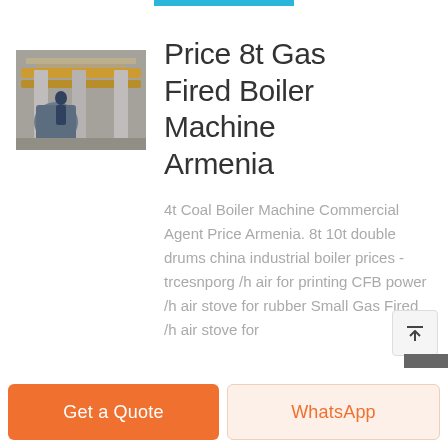[Figure (photo): Industrial boiler facility interior with yellow overhead equipment and structural columns]
Price 8t Gas Fired Boiler Machine Armenia
4t Coal Boiler Machine Commercial Agent Price Armenia. 8t 10t double drums china industrial boiler prices - trcesnporg /h air for printing CFB power /h air stove for rubber Small Gas Fired /h air stove for